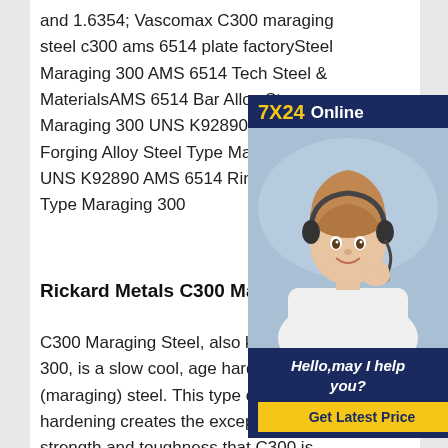and 1.6354; Vascomax C300 maraging steel c300 ams 6514 plate factorySteel Maraging 300 AMS 6514 Tech Steel & MaterialsAMS 6514 Bar Alloy Steel Maraging 300 UNS K92890 AMS Forging Alloy Steel Type Maraging UNS K92890 AMS 6514 Ring Alloy Type Maraging 300
[Figure (photo): Customer service representative with headset smiling. Ad overlay with '7X24 Online', 'Hello, may I help you?' and 'Get Latest Price' button on dark blue background.]
Rickard Metals C300 Maraging S...
C300 Maraging Steel, also known as... 300, is a slow cool, age hardening (maraging) steel. This type of precipitation hardening creates the exceptional strength and toughness that C300 is known for. As a result of these attributes and it's crack resistance propagation, Maraging is often used for tooling, missile